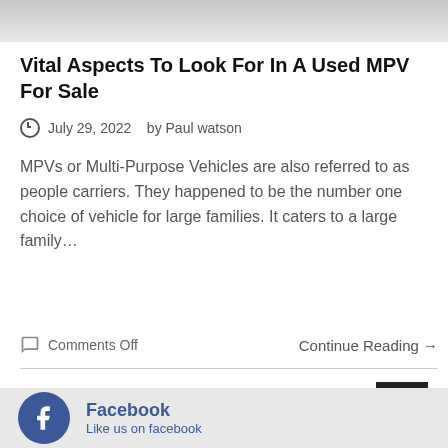[Figure (photo): Top portion of an image, partially cropped, showing a light gray gradient strip]
Vital Aspects To Look For In A Used MPV For Sale
July 29, 2022   by Paul watson
MPVs or Multi-Purpose Vehicles are also referred to as people carriers. They happened to be the number one choice of vehicle for large families. It caters to a large family…
Comments Off    Continue Reading →
Facebook
Like us on facebook